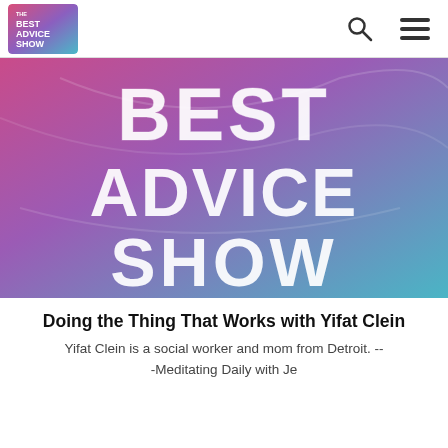THE BEST ADVICE SHOW
[Figure (logo): The Best Advice Show logo — gradient pink to blue square with white bold text]
[Figure (photo): Hero image with gradient pink-to-blue background displaying large white brushstroke text: BEST ADVICE SHOW]
Doing the Thing That Works with Yifat Clein
Yifat Clein is a social worker and mom from Detroit. -- -Meditating Daily with Je